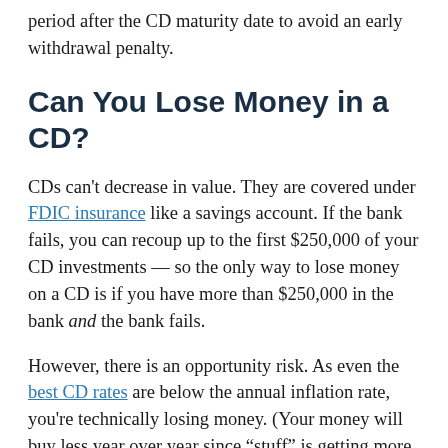period after the CD maturity date to avoid an early withdrawal penalty.
Can You Lose Money in a CD?
CDs can't decrease in value. They are covered under FDIC insurance like a savings account. If the bank fails, you can recoup up to the first $250,000 of your CD investments — so the only way to lose money on a CD is if you have more than $250,000 in the bank and the bank fails.
However, there is an opportunity risk. As even the best CD rates are below the annual inflation rate, you're technically losing money. (Your money will buy less year over year since "stuff" is getting more expensive all the time.) But earning some interest can be better than nothing. Plus, it's not wise to keep all of your cash